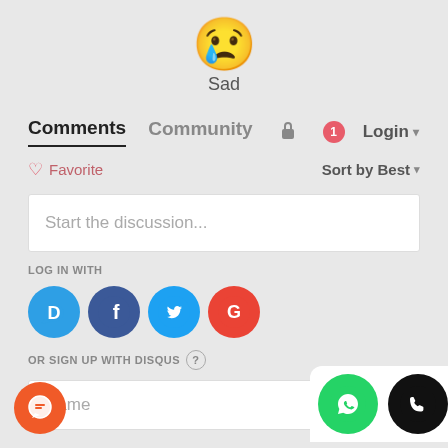[Figure (illustration): Yellow crying/sad face emoji with a single tear]
Sad
Comments   Community   🔒   1   Login ▾
♡ Favorite                    Sort by Best ▾
Start the discussion...
LOG IN WITH
[Figure (illustration): Social login icons: Disqus (D), Facebook (f), Twitter bird, Google (G)]
OR SIGN UP WITH DISQUS ?
Name
[Figure (illustration): Orange floating chat button at bottom left]
[Figure (illustration): Green WhatsApp floating button and black phone floating button at bottom right]